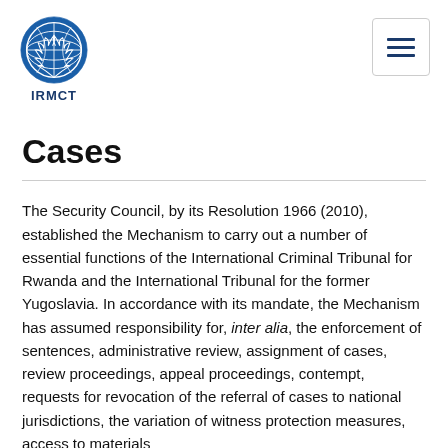[Figure (logo): United Nations IRMCT logo: globe with olive branches, text IRMCT below]
Cases
The Security Council, by its Resolution 1966 (2010), established the Mechanism to carry out a number of essential functions of the International Criminal Tribunal for Rwanda and the International Tribunal for the former Yugoslavia. In accordance with its mandate, the Mechanism has assumed responsibility for, inter alia, the enforcement of sentences, administrative review, assignment of cases, review proceedings, appeal proceedings, contempt, requests for revocation of the referral of cases to national jurisdictions, the variation of witness protection measures, access to materials